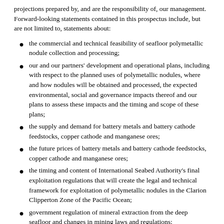projections prepared by, and are the responsibility of, our management. Forward-looking statements contained in this prospectus include, but are not limited to, statements about:
the commercial and technical feasibility of seafloor polymetallic nodule collection and processing;
our and our partners' development and operational plans, including with respect to the planned uses of polymetallic nodules, where and how nodules will be obtained and processed, the expected environmental, social and governance impacts thereof and our plans to assess these impacts and the timing and scope of these plans;
the supply and demand for battery metals and battery cathode feedstocks, copper cathode and manganese ores;
the future prices of battery metals and battery cathode feedstocks, copper cathode and manganese ores;
the timing and content of International Seabed Authority's final exploitation regulations that will create the legal and technical framework for exploitation of polymetallic nodules in the Clarion Clipperton Zone of the Pacific Ocean;
government regulation of mineral extraction from the deep seafloor and changes in mining laws and regulations;
technical, operational, environmental, social and governance risks of developing and deploying equipment to collect polymetallic nodules at sea and to process such nodules on land;
the sources and timing of potential revenue as well as the timing and amount of estimated future production, costs of production, other resource, capital expenditure and other